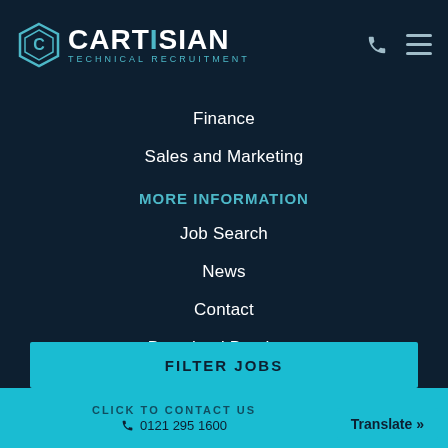[Figure (logo): Cartisian Technical Recruitment logo with hexagon icon, company name and tagline]
Finance
Sales and Marketing
MORE INFORMATION
Job Search
News
Contact
Download Brochure
CARTISIAN PRIVACY POLICY
Terms & Conditions
Privacy Policy
FILTER JOBS
CLICK TO CONTACT US  ☎ 0121 295 1600